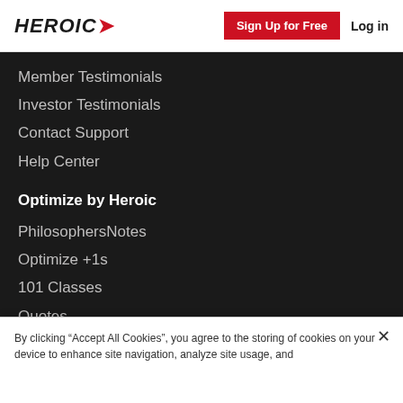[Figure (logo): Heroic logo with red arrow and black bold italic text]
Sign Up for Free
Log in
Member Testimonials
Investor Testimonials
Contact Support
Help Center
Optimize by Heroic
PhilosophersNotes
Optimize +1s
101 Classes
Quotes
Authors
By clicking “Accept All Cookies”, you agree to the storing of cookies on your device to enhance site navigation, analyze site usage, and